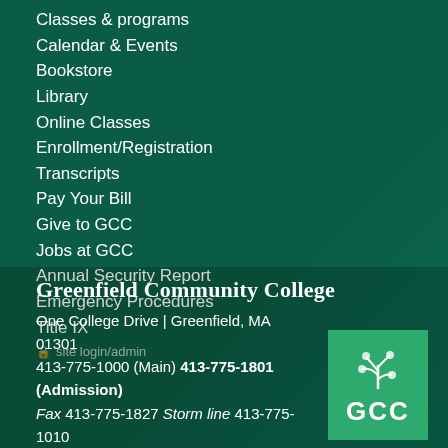Classes & programs
Calendar & Events
Bookstore
Library
Online Classes
Enrollment/Registration
Transcripts
Pay Your Bill
Give to GCC
Jobs at GCC
Annual Security Report
Emergency Procedures
Title IX
site login/admin
Greenfield Community College
One College Drive | Greenfield, MA 01301
413-775-1000 (Main) 413-775-1801 (Admission)
Fax 413-775-1827 Storm line 413-775-1010
[Figure (logo): GCC logo — green square with a stylized fern/plant icon above bold white text 'GCC']